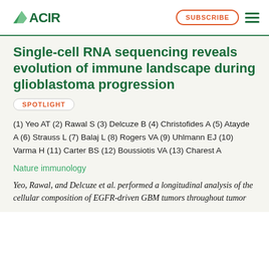ACIR | SUBSCRIBE
Single-cell RNA sequencing reveals evolution of immune landscape during glioblastoma progression
SPOTLIGHT
(1) Yeo AT (2) Rawal S (3) Delcuze B (4) Christofides A (5) Atayde A (6) Strauss L (7) Balaj L (8) Rogers VA (9) Uhlmann EJ (10) Varma H (11) Carter BS (12) Boussiotis VA (13) Charest A
Nature immunology
Yeo, Rawal, and Delcuze et al. performed a longitudinal analysis of the cellular composition of EGFR-driven GBM tumors throughout tumor